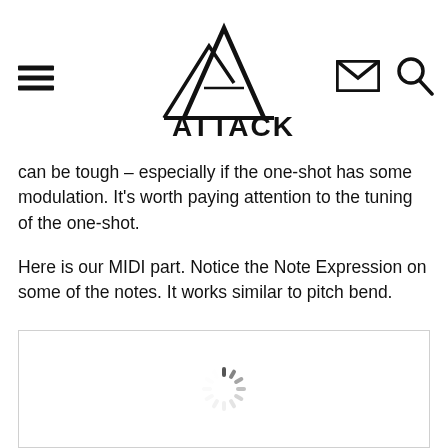ATTACK. — navigation header with logo, menu, mail and search icons
can be tough – especially if the one-shot has some modulation. It's worth paying attention to the tuning of the one-shot.
Here is our MIDI part. Notice the Note Expression on some of the notes. It works similar to pitch bend.
[Figure (screenshot): A white image panel with a loading spinner (radial lines spinner) centered within it, indicating content is still loading.]